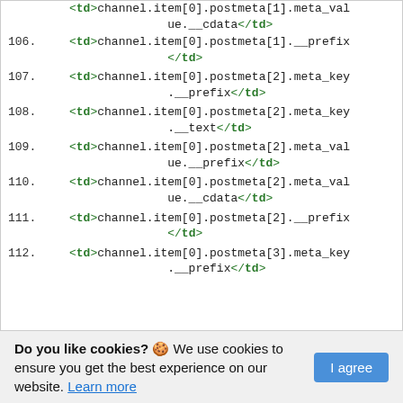<td>channel.item[0].postmeta[1].meta_value.__cdata</td>
106. <td>channel.item[0].postmeta[1].__prefix</td>
107. <td>channel.item[0].postmeta[2].meta_key.__prefix</td>
108. <td>channel.item[0].postmeta[2].meta_key.__text</td>
109. <td>channel.item[0].postmeta[2].meta_value.__prefix</td>
110. <td>channel.item[0].postmeta[2].meta_value.__cdata</td>
111. <td>channel.item[0].postmeta[2].__prefix</td>
112. <td>channel.item[0].postmeta[3].meta_key.__prefix</td>
Do you like cookies? 🍪 We use cookies to ensure you get the best experience on our website. Learn more | I agree